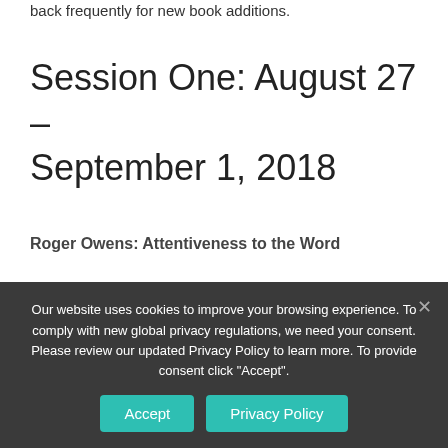back frequently for new book additions.
Session One: August 27 – September 1, 2018
Roger Owens: Attentiveness to the Word
1. A Tree Full of Angels, Macrina Wiederker
2. Eat This Book, Eugene Peterson
[partially visible text about Christian Spirituality]
Our website uses cookies to improve your browsing experience. To comply with new global privacy regulations, we need your consent. Please review our updated Privacy Policy to learn more. To provide consent click "Accept".